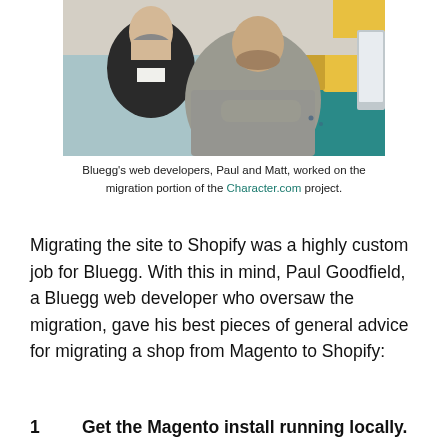[Figure (photo): Two men with beards looking at a computer monitor together, one in a grey knit sweater leaning forward, the other in a dark jacket. Office environment with teal sofa and yellow cushions visible in background.]
Bluegg's web developers, Paul and Matt, worked on the migration portion of the Character.com project.
Migrating the site to Shopify was a highly custom job for Bluegg. With this in mind, Paul Goodfield, a Bluegg web developer who oversaw the migration, gave his best pieces of general advice for migrating a shop from Magento to Shopify:
1	Get the Magento install running locally.